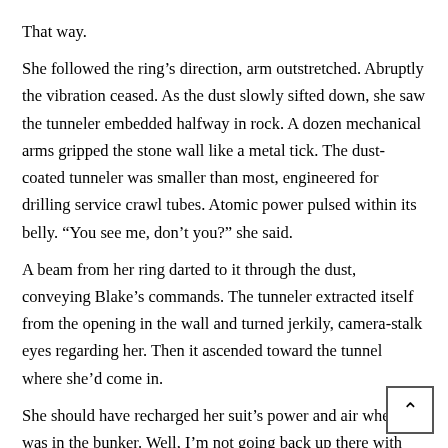That way.
She followed the ring’s direction, arm outstretched. Abruptly the vibration ceased. As the dust slowly sifted down, she saw the tunneler embedded halfway in rock. A dozen mechanical arms gripped the stone wall like a metal tick. The dust-coated tunneler was smaller than most, engineered for drilling service crawl tubes. Atomic power pulsed within its belly. “You see me, don’t you?” she said.
A beam from her ring darted to it through the dust, conveying Blake’s commands. The tunneler extracted itself from the opening in the wall and turned jerkily, camera-stalk eyes regarding her. Then it ascended toward the tunnel where she’d come in.
She should have recharged her suit’s power and air when she was in the bunker. Well, I’m not going back up there with the tunneler. She sipped water from the tube in her helmet, then set off through the tunnels ba… toward G5